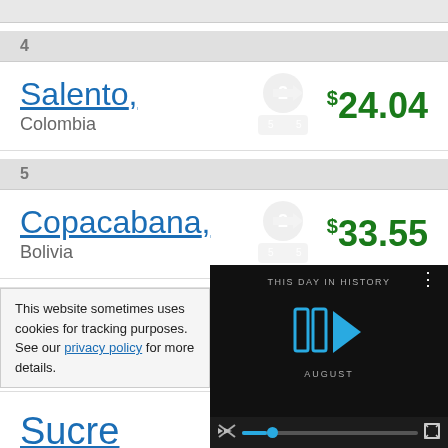4 — Salento, Colombia — $24.04
5 — Copacabana, Bolivia — $33.55
6 — Cuenca, Ecuador
This website sometimes uses cookies for tracking purposes. See our privacy policy for more details.
[Figure (screenshot): Video player overlay showing 'THIS DAY IN HISTORY' with play button and August label, with mute and fullscreen controls]
Sucre (partial, cut off)